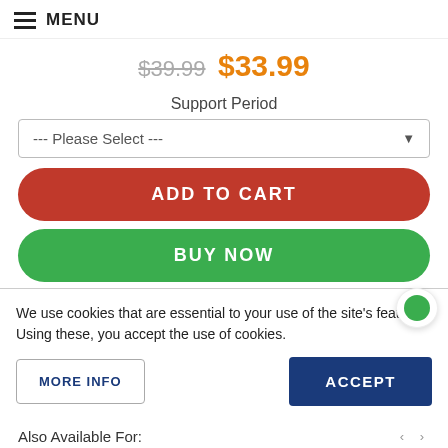MENU
$39.99  $33.99
Support Period
--- Please Select ---
ADD TO CART
BUY NOW
We use cookies that are essential to your use of the site's features. Using these, you accept the use of cookies.
MORE INFO
ACCEPT
Also Available For: